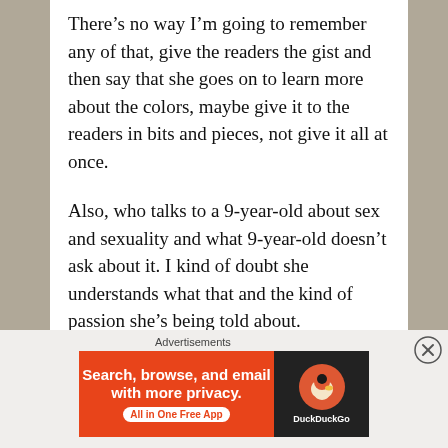There's no way I'm going to remember any of that, give the readers the gist and then say that she goes on to learn more about the colors, maybe give it to the readers in bits and pieces, not give it all at once.
Also, who talks to a 9-year-old about sex and sexuality and what 9-year-old doesn't ask about it. I kind of doubt she understands what that and the kind of passion she's being told about.
Skipping that much of the book, I really couldn't finish this story. I really didn't care enough to be interested in what the colors mean and I really couldn't be interested in all the little mundane
Advertisements
[Figure (infographic): DuckDuckGo advertisement banner: orange left panel with text 'Search, browse, and email with more privacy. All in One Free App' and dark right panel with DuckDuckGo duck logo and brand name.]